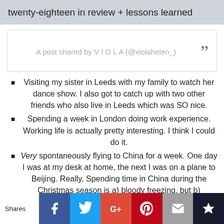twenty-eighteen in review + lessons learned
[Figure (screenshot): Embedded Instagram post placeholder showing 'A post shared by V I O L A (@violahelen_)' with a quote icon]
Visiting my sister in Leeds with my family to watch her dance show. I also got to catch up with two other friends who also live in Leeds which was SO nice.
Spending a week in London doing work experience. Working life is actually pretty interesting. I think I could do it.
Very spontaneously flying to China for a week. One day I was at my desk at home, the next I was on a plane to Beijing. Really. Spending time in China during the Christmas season is a) bloody freezing, but b)